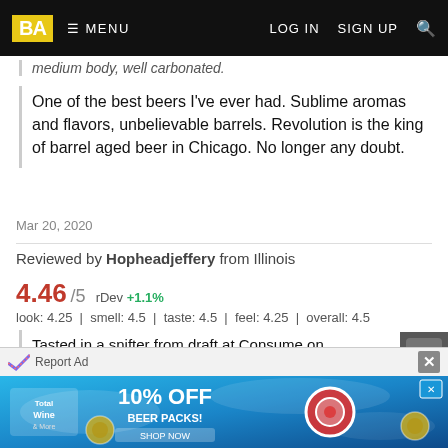BA  ☰ MENU  LOG IN  SIGN UP  🔍
medium body, well carbonated.
One of the best beers I've ever had. Sublime aromas and flavors, unbelievable barrels. Revolution is the king of barrel aged beer in Chicago. No longer any doubt.
Mar 20, 2020
Reviewed by Hopheadjeffery from Illinois
4.46/5  rDev +1.1%
look: 4.25 | smell: 4.5 | taste: 4.5 | feel: 4.25 | overall: 4.5
Tasted in a snifter from draft at Consume on November 15, 2019. An exceptionally complex sipper that combines bold American rye with toasted, nutty French oak. Boss Ryeway is a new take on Ryeway to Heaven matured in WhistlePig Boss Hog Armagnac barrels. It's expertly
Report Ad
[Figure (screenshot): Advertisement banner for Total Wine with 10% off Beer Packs offer, showing pool/water background with product imagery]